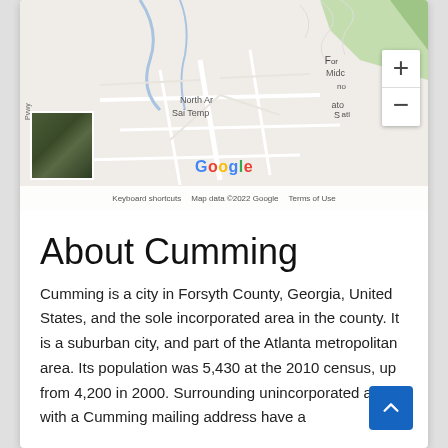[Figure (map): Google Maps view of Cumming, Georgia area showing roads and terrain, with satellite thumbnail in lower left, zoom controls on right, Google logo, keyboard shortcuts, map data copyright 2022 Google, and Terms of Use.]
About Cumming
Cumming is a city in Forsyth County, Georgia, United States, and the sole incorporated area in the county. It is a suburban city, and part of the Atlanta metropolitan area. Its population was 5,430 at the 2010 census, up from 4,200 in 2000. Surrounding unincorporated areas with a Cumming mailing address have a